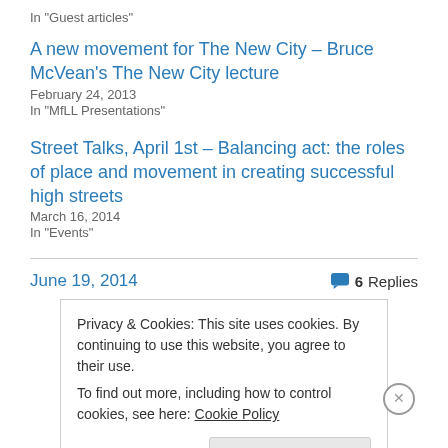In "Guest articles"
A new movement for The New City – Bruce McVean's The New City lecture
February 24, 2013
In "MfLL Presentations"
Street Talks, April 1st – Balancing act: the roles of place and movement in creating successful high streets
March 16, 2014
In "Events"
June 19, 2014
6 Replies
Privacy & Cookies: This site uses cookies. By continuing to use this website, you agree to their use.
To find out more, including how to control cookies, see here: Cookie Policy
Close and accept